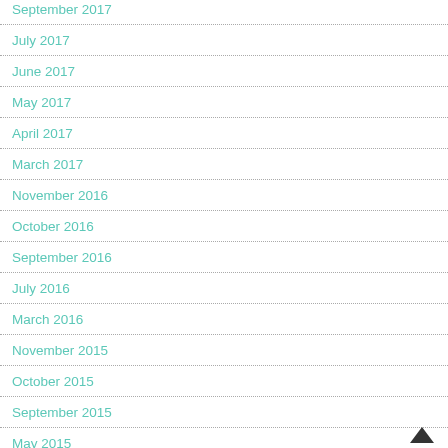September 2017
July 2017
June 2017
May 2017
April 2017
March 2017
November 2016
October 2016
September 2016
July 2016
March 2016
November 2015
October 2015
September 2015
May 2015